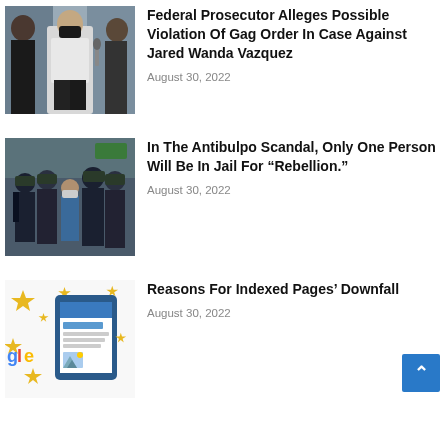[Figure (photo): Person in white jacket and black pants wearing a face mask, surrounded by people]
Federal Prosecutor Alleges Possible Violation Of Gag Order In Case Against Jared Wanda Vazquez
August 30, 2022
[Figure (photo): Group of people in black tactical gear surrounding individuals in a hallway]
In The Antibulpo Scandal, Only One Person Will Be In Jail For “Rebellion.”
August 30, 2022
[Figure (illustration): Colorful illustration with Google logo partial text, tablet device with content, and gold stars]
Reasons For Indexed Pages’ Downfall
August 30, 2022